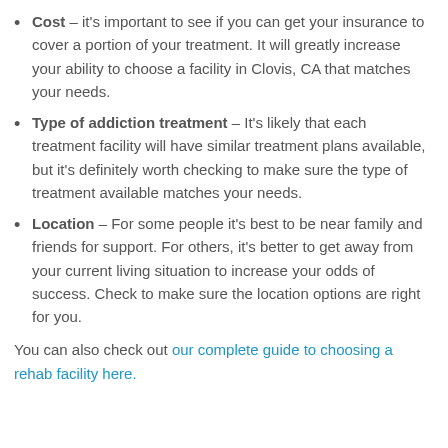Cost – it's important to see if you can get your insurance to cover a portion of your treatment. It will greatly increase your ability to choose a facility in Clovis, CA that matches your needs.
Type of addiction treatment – It's likely that each treatment facility will have similar treatment plans available, but it's definitely worth checking to make sure the type of treatment available matches your needs.
Location – For some people it's best to be near family and friends for support. For others, it's better to get away from your current living situation to increase your odds of success. Check to make sure the location options are right for you.
You can also check out our complete guide to choosing a rehab facility here.